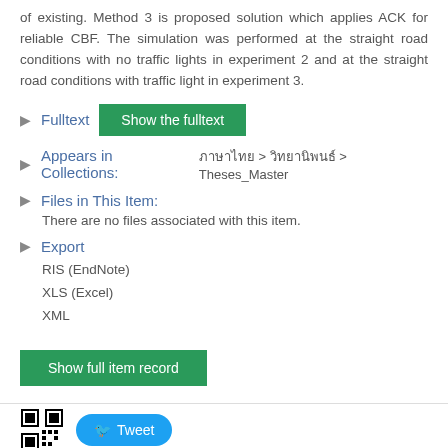of existing. Method 3 is proposed solution which applies ACK for reliable CBF. The simulation was performed at the straight road conditions with no traffic lights in experiment 2 and at the straight road conditions with traffic light in experiment 3.
Fulltext
Appears in Collections:
ภาษาไทย > วิทยานิพนธ์ > Theses_Master
Files in This Item:
There are no files associated with this item.
Export
RIS (EndNote)
XLS (Excel)
XML
[Figure (other): Show full item record green button]
[Figure (other): QR code image and Tweet button at bottom of page]